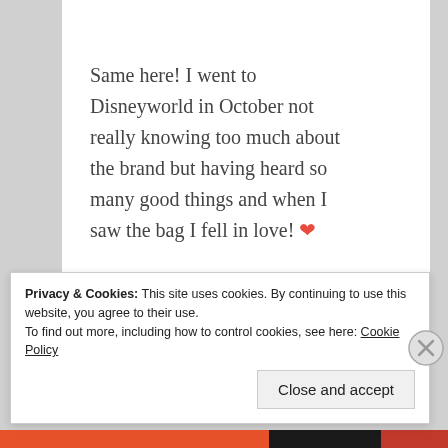Same here! I went to Disneyworld in October not really knowing too much about the brand but having heard so many good things and when I saw the bag I fell in love! ❤
★ Like
REPLY
Privacy & Cookies: This site uses cookies. By continuing to use this website, you agree to their use. To find out more, including how to control cookies, see here: Cookie Policy
Close and accept